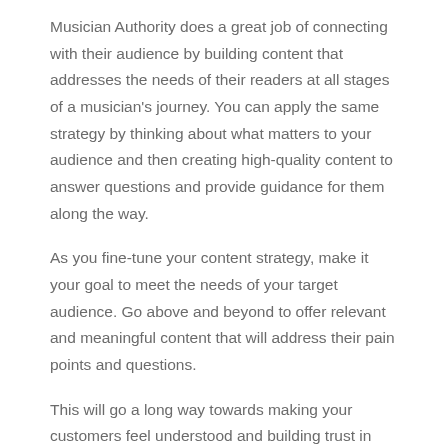Musician Authority does a great job of connecting with their audience by building content that addresses the needs of their readers at all stages of a musician's journey. You can apply the same strategy by thinking about what matters to your audience and then creating high-quality content to answer questions and provide guidance for them along the way.
As you fine-tune your content strategy, make it your goal to meet the needs of your target audience. Go above and beyond to offer relevant and meaningful content that will address their pain points and questions.
This will go a long way towards making your customers feel understood and building trust in your brand, driving conversions and boosting sales.
Make customers feel welcome with images of people who reflect them
If you want to know what the